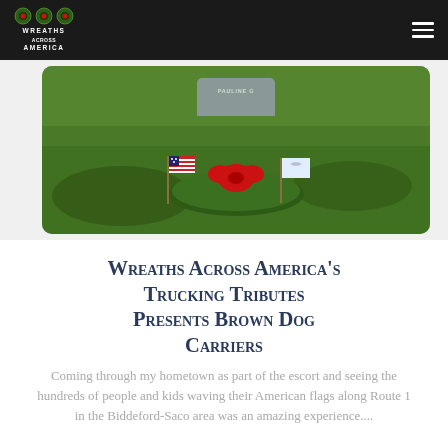Wreaths Across America
[Figure (photo): A holiday wreath with red bow, American flag, and white flag placed at a gravestone marked PAULINE G, surrounded by green grass]
Wreaths Across America's Trucking Tributes Presents Brown Dog Carriers
Coming through my hometown as part of the escort and seeing the hundreds of people and kids waving their American flags along Route 1 in the Biddeford-Saco area was an amazing experience....